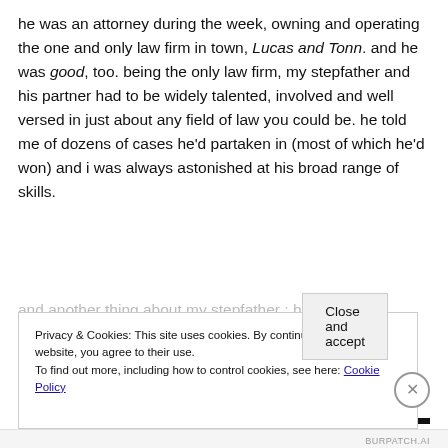he was an attorney during the week, owning and operating the one and only law firm in town, Lucas and Tonn. and he was good, too. being the only law firm, my stepfather and his partner had to be widely talented, involved and well versed in just about any field of law you could be. he told me of dozens of cases he'd partaken in (most of which he'd won) and i was always astonished at his broad range of skills.
and another thing about my stepfather : his sense of
Privacy & Cookies: This site uses cookies. By continuing to use this website, you agree to their use.
To find out more, including how to control cookies, see here: Cookie Policy
Close and accept